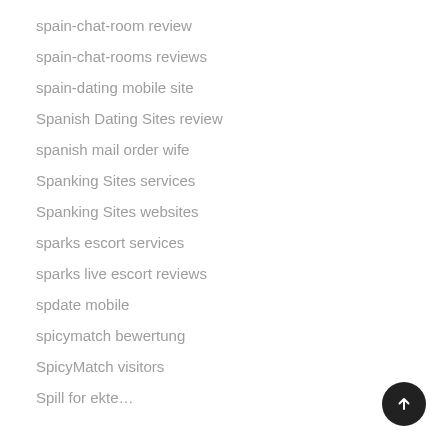spain-chat-room review
spain-chat-rooms reviews
spain-dating mobile site
Spanish Dating Sites review
spanish mail order wife
Spanking Sites services
Spanking Sites websites
sparks escort services
sparks live escort reviews
spdate mobile
spicymatch bewertung
SpicyMatch visitors
Spill for ekte…